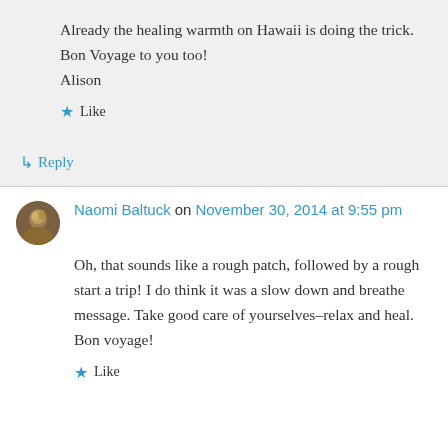Already the healing warmth on Hawaii is doing the trick.
Bon Voyage to you too!
Alison
★ Like
↳ Reply
Naomi Baltuck on November 30, 2014 at 9:55 pm
Oh, that sounds like a rough patch, followed by a rough start a trip! I do think it was a slow down and breathe message. Take good care of yourselves–relax and heal. Bon voyage!
★ Like